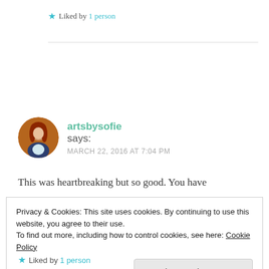★ Liked by 1 person
artsbysofie says: MARCH 22, 2016 AT 7:04 PM
This was heartbreaking but so good. You have
Privacy & Cookies: This site uses cookies. By continuing to use this website, you agree to their use. To find out more, including how to control cookies, see here: Cookie Policy
Close and accept
★ Liked by 1 person